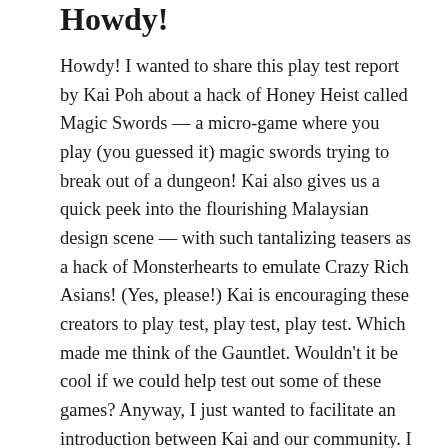Howdy!
Howdy! I wanted to share this play test report by Kai Poh about a hack of Honey Heist called Magic Swords — a micro-game where you play (you guessed it) magic swords trying to break out of a dungeon! Kai also gives us a quick peek into the flourishing Malaysian design scene — with such tantalizing teasers as a hack of Monsterhearts to emulate Crazy Rich Asians! (Yes, please!) Kai is encouraging these creators to play test, play test, play test. Which made me think of the Gauntlet. Wouldn't it be cool if we could help test out some of these games? Anyway, I just wanted to facilitate an introduction between Kai and our community. I know I will be keeping an eye out for more